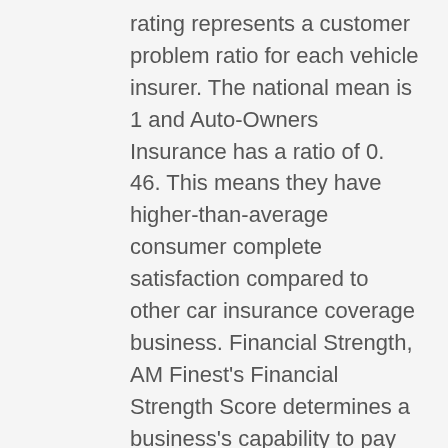rating represents a customer problem ratio for each vehicle insurer. The national mean is 1 and Auto-Owners Insurance has a ratio of 0. 46. This means they have higher-than-average consumer complete satisfaction compared to other car insurance coverage business. Financial Strength, AM Finest's Financial Strength Score determines a business's capability to pay its insurance coverage commitments.
This score means they are economically steady and should be able to pay its policyholder's claims. The rating, however, is not thought